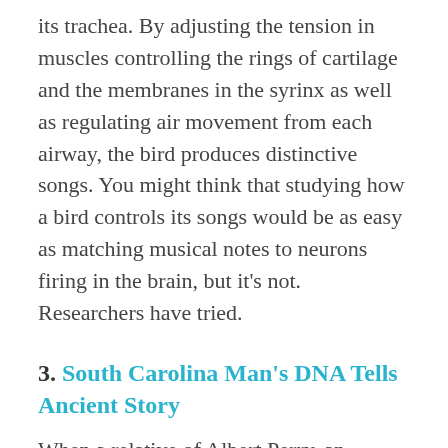its trachea. By adjusting the tension in muscles controlling the rings of cartilage and the membranes in the syrinx as well as regulating air movement from each airway, the bird produces distinctive songs. You might think that studying how a bird controls its songs would be as easy as matching musical notes to neurons firing in the brain, but it's not. Researchers have tried.
3. South Carolina Man's DNA Tells Ancient Story
When a relative of Albert Perry, an African-